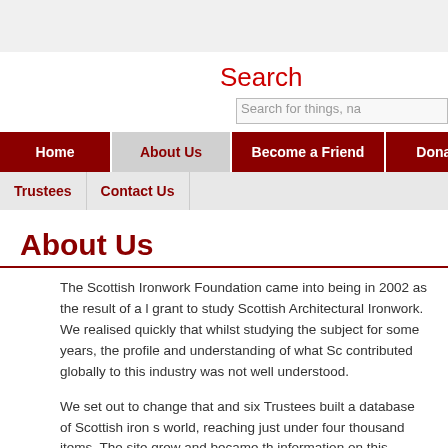[Figure (screenshot): Top grey header bar of a website]
Search
[Figure (screenshot): Search input box with placeholder text 'Search for things, na']
Home | About Us | Become a Friend | Donate | News | Trustees | Contact Us
About Us
The Scottish Ironwork Foundation came into being in 2002 as the result of a grant to study Scottish Architectural Ironwork. We realised quickly that whilst studying the subject for some years, the profile and understanding of what So contributed globally to this industry was not well understood.
We set out to change that and six Trustees built a database of Scottish iron s world, reaching just under four thousand items. The site grew and became th information on this remarkable industry.
Sadly our site was hacked in 2012, but thanks to a grant from the Heritage Lo December 2013 we have been able to commission a new website and sear